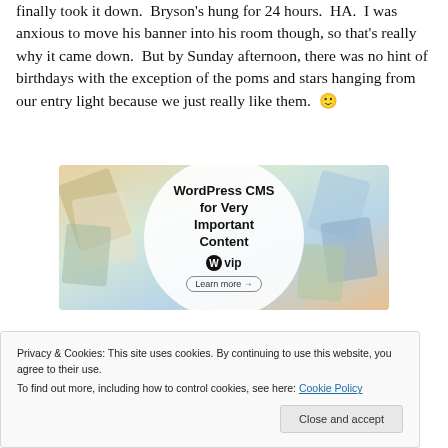finally took it down.  Bryson's hung for 24 hours.  HA.  I was anxious to move his banner into his room though, so that's really why it came down.  But by Sunday afternoon, there was no hint of birthdays with the exception of the poms and stars hanging from our entry light because we just really like them. 🙂
[Figure (screenshot): WordPress VIP advertisement banner showing 'WordPress CMS for Very Important Content' with WPvip logo and Learn more button, on a colorful background with various cards/papers]
Privacy & Cookies: This site uses cookies. By continuing to use this website, you agree to their use.
To find out more, including how to control cookies, see here: Cookie Policy